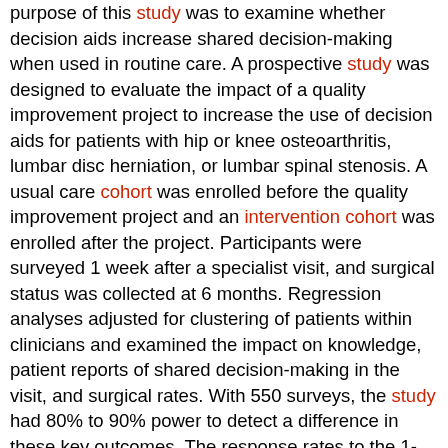purpose of this study was to examine whether decision aids increase shared decision-making when used in routine care. A prospective study was designed to evaluate the impact of a quality improvement project to increase the use of decision aids for patients with hip or knee osteoarthritis, lumbar disc herniation, or lumbar spinal stenosis. A usual care cohort was enrolled before the quality improvement project and an intervention cohort was enrolled after the project. Participants were surveyed 1 week after a specialist visit, and surgical status was collected at 6 months. Regression analyses adjusted for clustering of patients within clinicians and examined the impact on knowledge, patient reports of shared decision-making in the visit, and surgical rates. With 550 surveys, the study had 80% to 90% power to detect a difference in these key outcomes. The response rates to the 1-week survey were 70.6% (324 of 459) for the usual care cohort and 70.2% (328 of 467) for the intervention cohort. There was no significant difference (p > 0.05) in any patient characteristic between the 2 cohorts. More patients received decision aids in the intervention cohort at 63.6% compared with the usual care cohort at 27.3% (p = 0.007). Decision aid use was associated with higher knowledge scores, with a mean difference of 18.7 points (95% confidence interval [CI], 11.4 to 26.1 points; p < 0.001) for the usual care